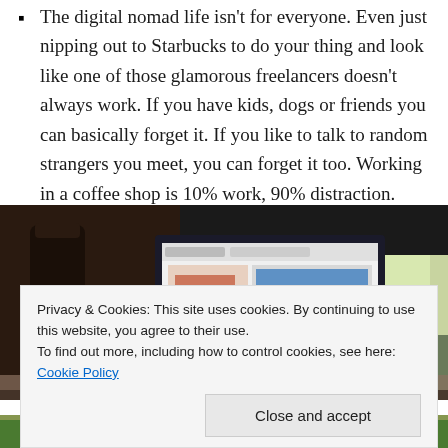The digital nomad life isn't for everyone. Even just nipping out to Starbucks to do your thing and look like one of those glamorous freelancers doesn't always work. If you have kids, dogs or friends you can basically forget it. If you like to talk to random strangers you meet, you can forget it too. Working in a coffee shop is 10% work, 90% distraction.
[Figure (photo): A photo of a laptop on a coffee shop table showing a design application open, with a cup of coffee to the right and greenery visible through a window in the background.]
Privacy & Cookies: This site uses cookies. By continuing to use this website, you agree to their use.
To find out more, including how to control cookies, see here: Cookie Policy
[Figure (photo): Partial photo at bottom of page showing what appears to be food on a green surface.]